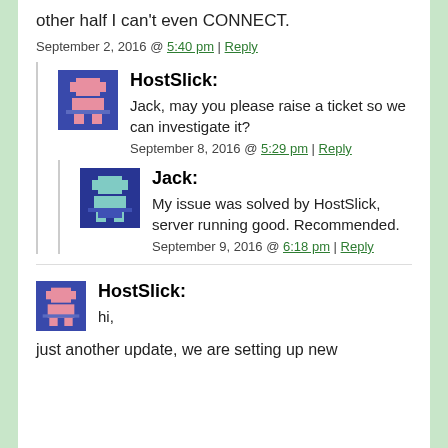other half I can't even CONNECT.
September 2, 2016 @ 5:40 pm | Reply
HostSlick: Jack, may you please raise a ticket so we can investigate it?
September 8, 2016 @ 5:29 pm | Reply
Jack: My issue was solved by HostSlick, server running good. Recommended.
September 9, 2016 @ 6:18 pm | Reply
HostSlick: hi,
just another update, we are setting up new